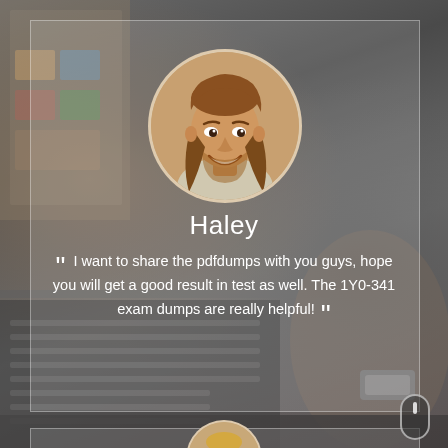[Figure (photo): Blurred background photo of a person typing on a laptop with a watch visible, and a colorful screen/objects on the left. Dark grayish-brown tones overall.]
[Figure (photo): Circular avatar portrait of a smiling young man with long brown hair and a beard, on a blurred background.]
Haley
“ I want to share the pdfdumps with you guys, hope you will get a good result in test as well. The 1Y0-341 exam dumps are really helpful! ”
[Figure (photo): Partially visible circular avatar of a second person (appears to be a woman with lighter hair) at the bottom of the page, inside a second testimonial card.]